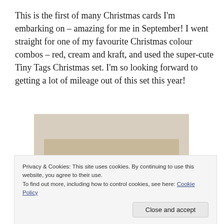This is the first of many Christmas cards I'm embarking on – amazing for me in September! I went straight for one of my favourite Christmas colour combos – red, cream and kraft, and used the super-cute Tiny Tags Christmas set. I'm so looking forward to getting a lot of mileage out of this set this year!
[Figure (photo): A photo showing a handmade Christmas card on a kraft/tan textured surface with a light cream/beige background.]
Privacy & Cookies: This site uses cookies. By continuing to use this website, you agree to their use.
To find out more, including how to control cookies, see here: Cookie Policy